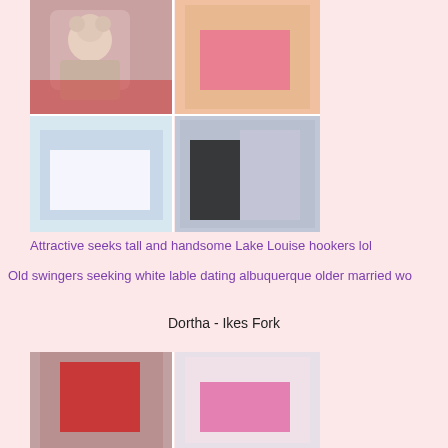[Figure (photo): Grid of four photos showing women in various outfits, top row and bottom row, two columns each]
Attractive seeks tall and handsome Lake Louise hookers lol
Old swingers seeking white lable dating albuquerque older married wo
Dortha - Ikes Fork
[Figure (photo): Partial photo grid showing two women, one in red top and one in pink bra, cropped at bottom]